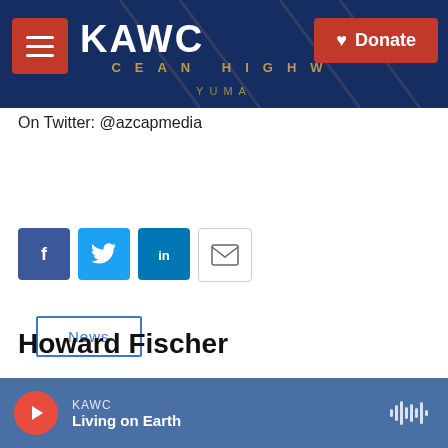[Figure (screenshot): KAWC radio station website header banner with logo, hamburger menu button, and red Donate button]
On Twitter: @azcapmedia
News
[Figure (infographic): Social sharing icons: Facebook (blue), Twitter (blue), LinkedIn (blue), Email (white/grey)]
Howard Fischer
See stories by Howard Fischer
KAWC  Living on Earth